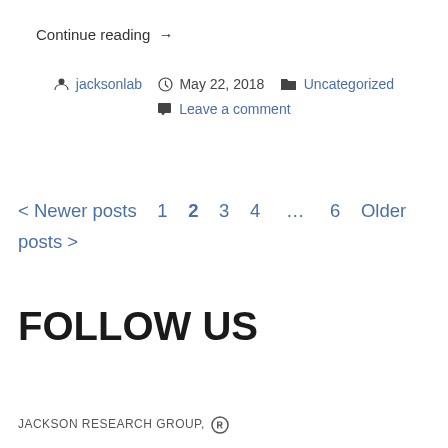Continue reading →
jacksonlab   May 22, 2018   Uncategorized   Leave a comment
< Newer posts  1  2  3  4  …  6  Older posts >
FOLLOW US
JACKSON RESEARCH GROUP, Ⓦ